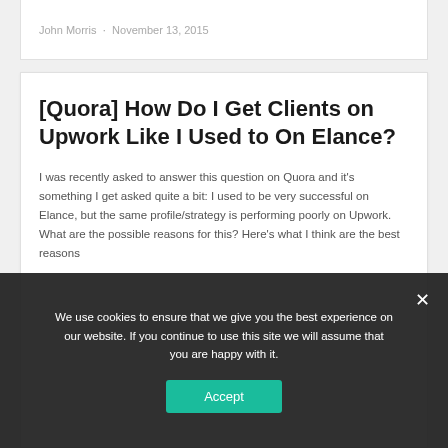John Morris · November 13, 2015
[Quora] How Do I Get Clients on Upwork Like I Used to On Elance?
I was recently asked to answer this question on Quora and it's something I get asked quite a bit: I used to be very successful on Elance, but the same profile/strategy is performing poorly on Upwork. What are the possible reasons for this? Here's what I think are the best reasons...
We use cookies to ensure that we give you the best experience on our website. If you continue to use this site we will assume that you are happy with it.